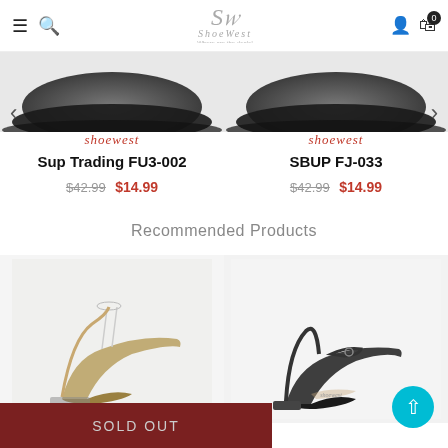ShoeWest - Where are the deals!
[Figure (photo): Top portion of black shoes product image for Sup Trading FU3-002]
[Figure (photo): Top portion of black shoes product image for SBUP FJ-033]
shoewest
shoewest
Sup Trading FU3-002
SBUP FJ-033
$42.99 $14.99
$42.99 $14.99
Recommended Products
[Figure (photo): Gold/metallic high heel shoe recommended product]
[Figure (photo): Black ankle strap heeled shoe recommended product]
SOLD OUT